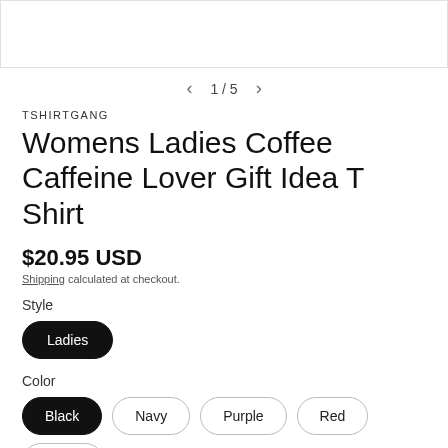[Figure (screenshot): Product image placeholder - white area with light gray border at top of page]
1 / 5
TSHIRTGANG
Womens Ladies Coffee Caffeine Lover Gift Idea T Shirt
$20.95 USD
Shipping calculated at checkout.
Style
Ladies
Color
Black
Navy
Purple
Red
White